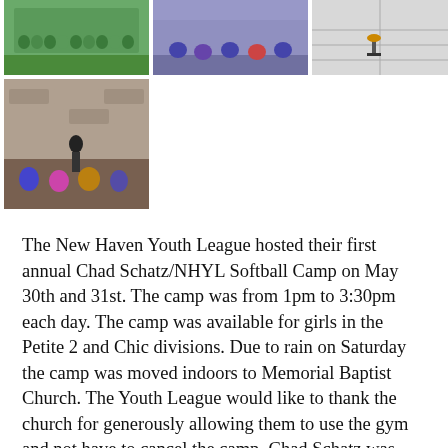[Figure (photo): Group photo of youth softball team in green shirts outdoors]
[Figure (photo): Youth players in blue uniforms sitting on gym floor]
[Figure (photo): Indoor sports facility with tee and ball setup]
[Figure (photo): Children watching a pitching demonstration indoors against a stone wall]
The New Haven Youth League hosted their first annual Chad Schatz/NHYL Softball Camp on May 30th and 31st. The camp was from 1pm to 3:30pm each day. The camp was available for girls in the Petite 2 and Chic divisions. Due to rain on Saturday the camp was moved indoors to Memorial Baptist Church. The Youth League would like to thank the church for generously allowing them to use the gym and not have to cancel the camp. Chad Schatz was here last year and hosted a Pitching Clinic for softball pitchers in the league. Chad a native of Sullivan, Missouri and currently resides in Columbia, Missouri and is an assistant softball coach at Missouri S&T in Rolla